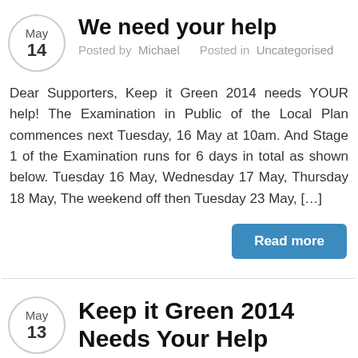We need your help
Posted by  Michael      Posted in  Uncategorised
Dear Supporters, Keep it Green 2014 needs YOUR help! The Examination in Public of the Local Plan commences next Tuesday, 16 May at 10am. And Stage 1 of the Examination runs for 6 days in total as shown below. Tuesday 16 May, Wednesday 17 May, Thursday 18 May, The weekend off then Tuesday 23 May, […]
Read more
Keep it Green 2014 Needs Your Help